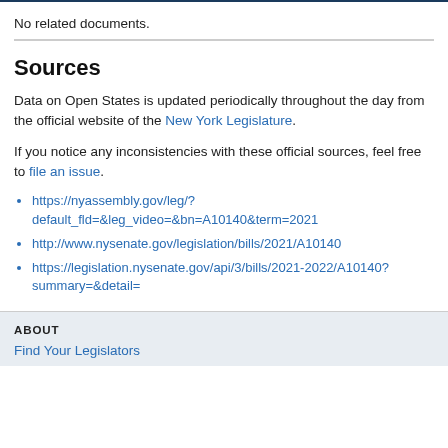No related documents.
Sources
Data on Open States is updated periodically throughout the day from the official website of the New York Legislature.
If you notice any inconsistencies with these official sources, feel free to file an issue.
https://nyassembly.gov/leg/?default_fld=&leg_video=&bn=A10140&term=2021
http://www.nysenate.gov/legislation/bills/2021/A10140
https://legislation.nysenate.gov/api/3/bills/2021-2022/A10140?summary=&detail=
ABOUT
Find Your Legislators